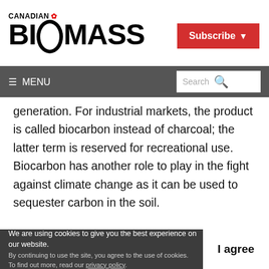CANADIAN BIOMASS
Subscribe
≡ MENU  Search
generation. For industrial markets, the product is called biocarbon instead of charcoal; the latter term is reserved for recreational use. Biocarbon has another role to play in the fight against climate change as it can be used to sequester carbon in the soil.
We are using cookies to give you the best experience on our website.
By continuing to use the site, you agree to the use of cookies.
To find out more, read our privacy policy.
I agree